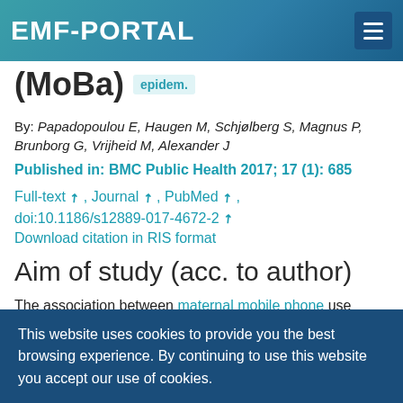EMF-PORTAL
(MoBa) epidem.
By: Papadopoulou E, Haugen M, Schjølberg S, Magnus P, Brunborg G, Vrijheid M, Alexander J
Published in: BMC Public Health 2017; 17 (1): 685
Full-text ↗ , Journal ↗ , PubMed ↗ , doi:10.1186/s12889-017-4672-2 ↗
Download citation in RIS format
Aim of study (acc. to author)
The association between maternal mobile phone use during first trimester and child's language skills at 3 years as well as communication and motor skills at 3 and 5 years was investigated in a large prospective
This website uses cookies to provide you the best browsing experience. By continuing to use this website you accept our use of cookies.